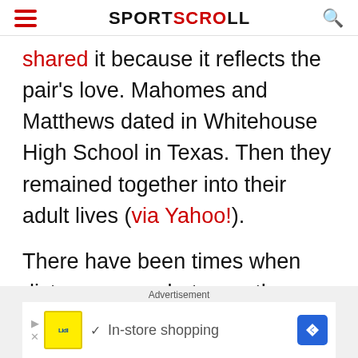SPORTSCROLL
shared it because it reflects the pair's love. Mahomes and Matthews dated in Whitehouse High School in Texas. Then they remained together into their adult lives (via Yahoo!).
There have been times when distance came between them. But they always
Advertisement
[Figure (other): Advertisement banner showing Lidl logo with text 'In-store shopping' and a blue navigation arrow icon]